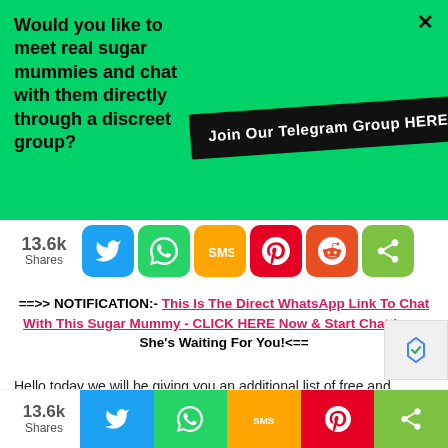[Figure (infographic): Green banner with text 'Would you like to meet real sugar mummies and chat with them directly through a discreet group?' and a black button 'Join Our Telegram Group HERE']
[Figure (infographic): Social share bar with 13.6k shares, Twitter, WhatsApp, SMS, Pinterest, Reddit, and Share icons]
==>> NOTIFICATION:- This Is The Direct WhatsApp Link To Chat With This Sugar Mummy - CLICK HERE Now & Start Chatting – She's Waiting For You!<==
Hello today we will be giving you an additional list of free and complete list of sugar mummy dating phone nu
[Figure (infographic): Bottom social share bar with 13.6k shares, Twitter, WhatsApp, SMS, Pinterest and Share icons]